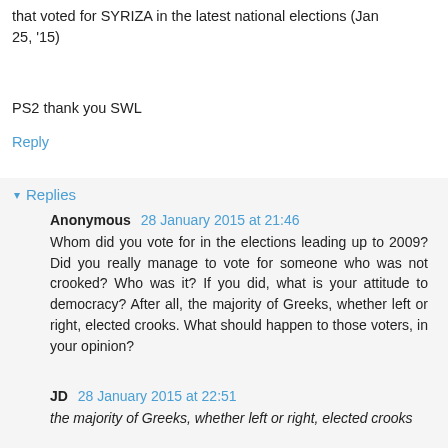that voted for SYRIZA in the latest national elections (Jan 25, '15)
PS2 thank you SWL
Reply
Replies
Anonymous 28 January 2015 at 21:46
Whom did you vote for in the elections leading up to 2009? Did you really manage to vote for someone who was not crooked? Who was it? If you did, what is your attitude to democracy? After all, the majority of Greeks, whether left or right, elected crooks. What should happen to those voters, in your opinion?
JD 28 January 2015 at 22:51
the majority of Greeks, whether left or right, elected crooks